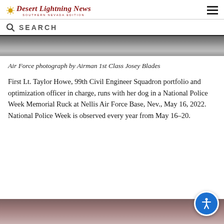Desert Lightning News — SOUTHERN NEVADA EDITION
SEARCH
[Figure (photo): Top portion of an outdoor photograph, showing a gray textured ground or terrain surface]
Air Force photograph by Airman 1st Class Josey Blades
First Lt. Taylor Howe, 99th Civil Engineer Squadron portfolio and optimization officer in charge, runs with her dog in a National Police Week Memorial Ruck at Nellis Air Force Base, Nev., May 16, 2022. National Police Week is observed every year from May 16–20.
[Figure (photo): Bottom portion of a photograph with brownish-mauve tones, partially visible at the bottom of the page]